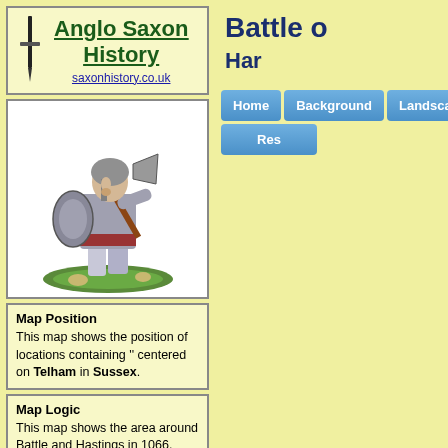[Figure (logo): Anglo Saxon History logo with sword icon and underlined title text, saxonhistory.co.uk]
[Figure (photo): Painted miniature figurine of an Anglo Saxon warrior in chainmail, holding an axe and shield, standing on a green grassy base]
Map Position
This map shows the position of locations containing '' centered on Telham in Sussex.
Map Logic
This map shows the area around Battle and Hastings in 1066.

Roman roads are shown as black lines, red lines show old Roman Ridge trackways and purple lines show theoretical Roman roads implied by village and road names.
Battle o
Har
Home
Background
Landscape
Res